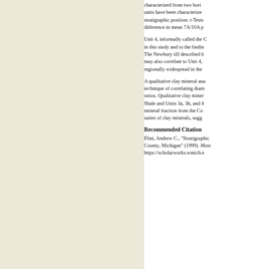characterized from two borin units have been characterized stratigraphic position. t-Tests difference in mean 7A/10A p
Unit 4, informally called the C in this study and to the findin The Newbury till described b may also correlate to Unit 4, regionally widespread in the
A qualitative clay mineral ana technique of correlating diam ratios. Qualitative clay miner Shale and Units 3a, 3b, and 4 mineral fraction from the Co suites of clay minerals, sugg
Recommended Citation
Flint, Andrew C., "Stratigraphic County, Michigan" (1999). Mast https://scholarworks.wmich.e